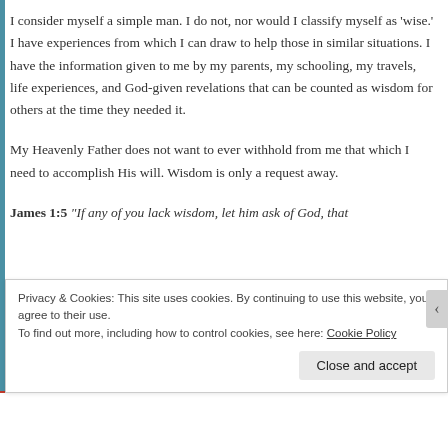I consider myself a simple man. I do not, nor would I classify myself as 'wise.' I have experiences from which I can draw to help those in similar situations. I have the information given to me by my parents, my schooling, my travels, life experiences, and God-given revelations that can be counted as wisdom for others at the time they needed it.
My Heavenly Father does not want to ever withhold from me that which I need to accomplish His will. Wisdom is only a request away.
James 1:5 "If any of you lack wisdom, let him ask of God, that
Privacy & Cookies: This site uses cookies. By continuing to use this website, you agree to their use.
To find out more, including how to control cookies, see here: Cookie Policy
Close and accept